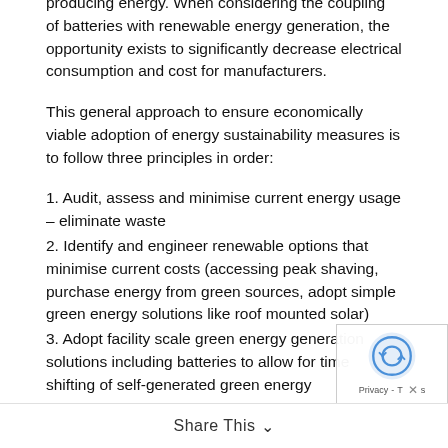producing energy. When considering the coupling of batteries with renewable energy generation, the opportunity exists to significantly decrease electrical consumption and cost for manufacturers.
This general approach to ensure economically viable adoption of energy sustainability measures is to follow three principles in order:
1. Audit, assess and minimise current energy usage – eliminate waste
2. Identify and engineer renewable options that minimise current costs (accessing peak shaving, purchase energy from green sources, adopt simple green energy solutions like roof mounted solar)
3. Adopt facility scale green energy generation solutions including batteries to allow for time shifting of self-generated green energy